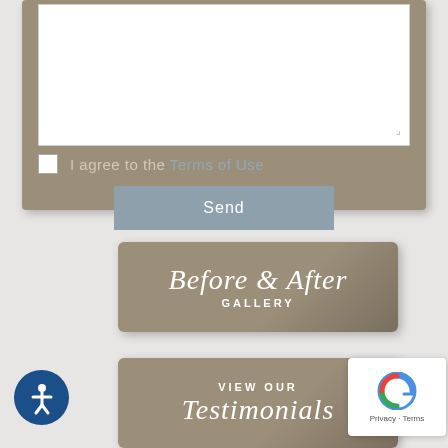[Figure (screenshot): Contact form card with white textarea, checkbox for Terms of Use, and Send button, all on a tan/brown background]
I agree to the Terms of Use
Send
[Figure (screenshot): Before & After Gallery button — tan/brown rounded rectangle with cursive script 'Before & After' and 'GALLERY' in caps]
[Figure (screenshot): Accessibility icon — dark blue circle with white person/wheelchair symbol]
[Figure (screenshot): VIEW OUR Testimonials button — tan/brown rounded rectangle]
[Figure (screenshot): reCAPTCHA badge — white card with Google reCAPTCHA logo and Privacy · Terms text]